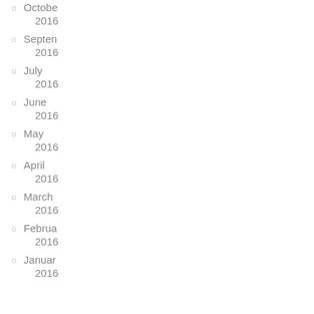October 2016
September 2016
July 2016
June 2016
May 2016
April 2016
March 2016
February 2016
January 2016